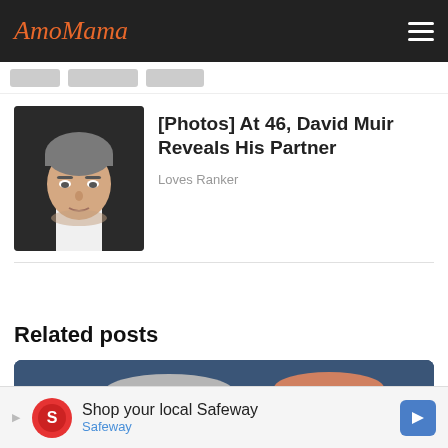AmoMama
[Figure (photo): Photo of a man with dark hair, likely David Muir]
[Photos] At 46, David Muir Reveals His Partner
Loves Ranker
Related posts
[Figure (photo): Cropped photo showing top of heads of two people]
Shop your local Safeway
Safeway